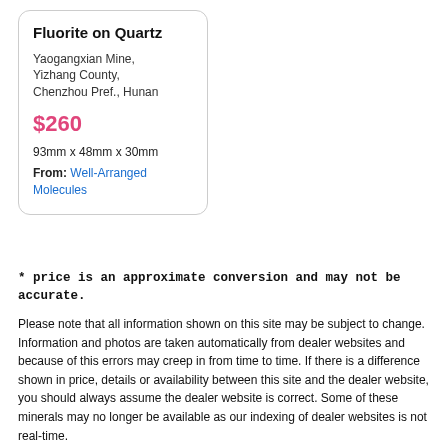Fluorite on Quartz
Yaogangxian Mine, Yizhang County, Chenzhou Pref., Hunan
$260
93mm x 48mm x 30mm
From: Well-Arranged Molecules
* price is an approximate conversion and may not be accurate.
Please note that all information shown on this site may be subject to change. Information and photos are taken automatically from dealer websites and because of this errors may creep in from time to time. If there is a difference shown in price, details or availability between this site and the dealer website, you should always assume the dealer website is correct. Some of these minerals may no longer be available as our indexing of dealer websites is not real-time.
If you want to have your mineral website listed on minfind.com, click here to find out how.
Website copyright © J.Ralph and minfind.com 2009-2022. All photographs and other dealer data are copyright of the respective dealers. All Rights